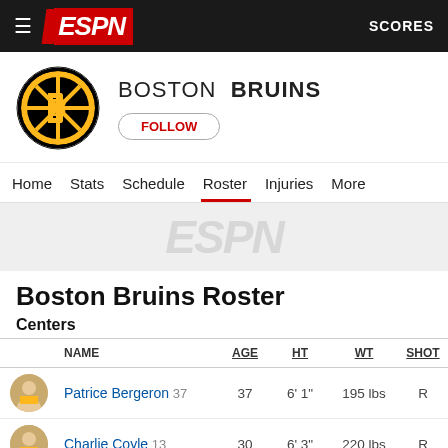ESPN - SCORES
[Figure (logo): ESPN logo with hamburger menu and SCORES button on dark header]
[Figure (logo): Boston Bruins circular logo - black and gold with B]
BOSTON BRUINS
FOLLOW
Home  Stats  Schedule  Roster  Injuries  More
[Figure (logo): ESPN watermark in gray on light gray background]
Boston Bruins Roster
Centers
|  | NAME | AGE | HT | WT | SHOT |
| --- | --- | --- | --- | --- | --- |
| [photo] | Patrice Bergeron 37 | 37 | 6' 1" | 195 lbs | R |
| [photo] | Charlie Coyle 13 | 30 | 6' 3" | 220 lbs | R |